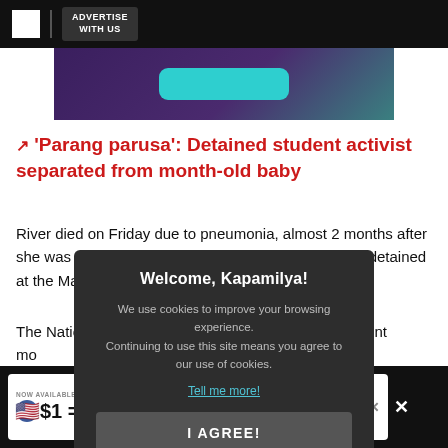ADVERTISE WITH US
[Figure (other): Purple/teal advertisement banner with teal rounded button]
'Parang parusa': Detained student activist separated from month-old baby
River died on Friday due to pneumonia, almost 2 months after she was separated from her mother, who is currently detained at the Manila City Jail.
The Natio... lier filed an urgent mo... Nasino and her daught... the baby was to exp...
Nasino's la... ed the ruling.
[Figure (screenshot): Cookie consent overlay: 'Welcome, Kapamilya!' dialog with 'Tell me more!' link and 'I AGREE!' button]
[Figure (other): Bottom advertisement: Pomelo app - NOW AVAILABLE FOR A LIMITED TIME, $1 = P60, Applies to first $500 spent in 45 days for new customers.]